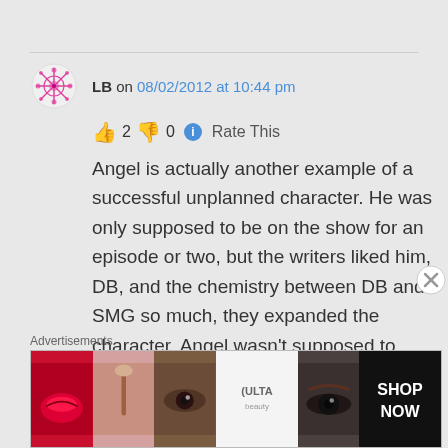LB on 08/02/2012 at 10:44 pm
👍 2 👎 0 ℹ Rate This
Angel is actually another example of a successful unplanned character. He was only supposed to be on the show for an episode or two, but the writers liked him, DB, and the chemistry between DB and SMG so much, they expanded the character. Angel wasn't supposed to come back after season 2 either, but he
Advertisements